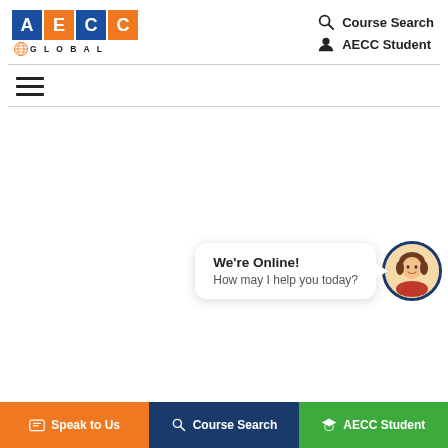[Figure (logo): AECC Global logo with colored letter boxes and globe icon]
Course Search
AECC Student
[Figure (other): Hamburger menu icon with three horizontal lines]
[Figure (other): Chat widget with avatar showing 'We're Online! How may I help you today?']
We're Online!
How may I help you today?
Speak to Us
Course Search
AECC Student